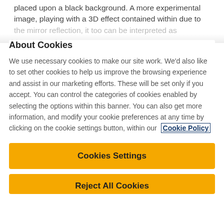placed upon a black background. A more experimental image, playing with a 3D effect contained within due to the mirror reflection, it too can be interpreted as
About Cookies
We use necessary cookies to make our site work. We'd also like to set other cookies to help us improve the browsing experience and assist in our marketing efforts. These will be set only if you accept. You can control the categories of cookies enabled by selecting the options within this banner. You can also get more information, and modify your cookie preferences at any time by clicking on the cookie settings button, within our Cookie Policy
Cookies Settings
Reject All Cookies